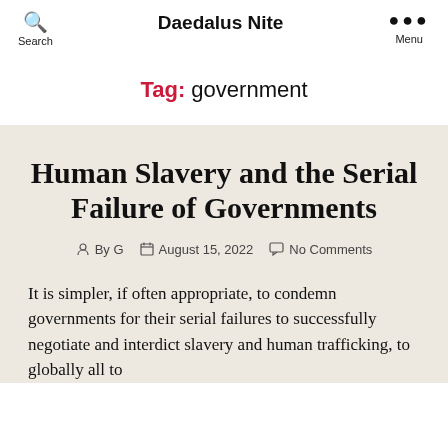Search | Daedalus Nite | Menu
Tag: government
Human Slavery and the Serial Failure of Governments
By G   August 15, 2022   No Comments
It is simpler, if often appropriate, to condemn governments for their serial failures to successfully negotiate and interdict slavery and human trafficking, to globally all to...